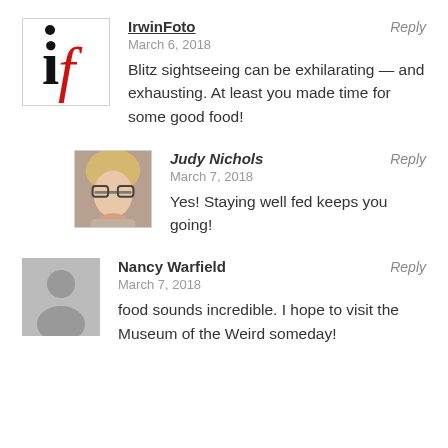[Figure (logo): IrwinFoto logo: black bold 'i' with red 'f' cursive letter on white background with border]
IrwinFoto
March 6, 2018
Blitz sightseeing can be exhilarating — and exhausting. At least you made time for some good food!
[Figure (photo): Profile photo of Judy Nichols: woman with glasses and light hair]
Judy Nichols
March 7, 2018
Yes! Staying well fed keeps you going!
[Figure (illustration): Generic gray silhouette avatar for Nancy Warfield]
Nancy Warfield
March 7, 2018
food sounds incredible. I hope to visit the Museum of the Weird someday!